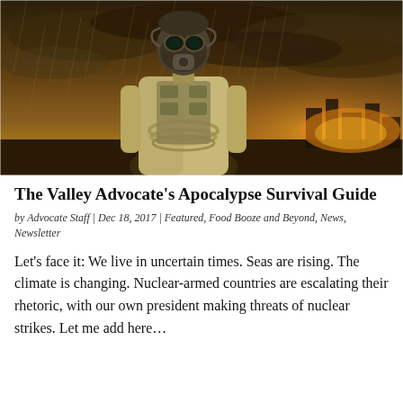[Figure (photo): A person in a gas mask and post-apocalyptic gear standing in rain against a dramatic stormy sky with burning ruins in the background.]
The Valley Advocate's Apocalypse Survival Guide
by Advocate Staff | Dec 18, 2017 | Featured, Food Booze and Beyond, News, Newsletter
Let's face it: We live in uncertain times. Seas are rising. The climate is changing. Nuclear-armed countries are escalating their rhetoric, with our own president making threats of nuclear strikes. Let me add here…